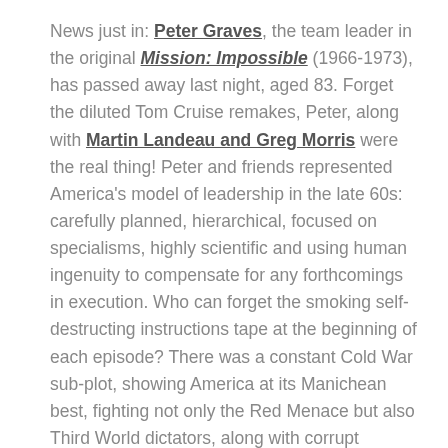News just in: Peter Graves, the team leader in the original Mission: Impossible (1966-1973), has passed away last night, aged 83. Forget the diluted Tom Cruise remakes, Peter, along with Martin Landeau and Greg Morris were the real thing! Peter and friends represented America's model of leadership in the late 60s: carefully planned, hierarchical, focused on specialisms, highly scientific and using human ingenuity to compensate for any forthcomings in execution. Who can forget the smoking self-destructing instructions tape at the beginning of each episode? There was a constant Cold War sub-plot, showing America at its Manichean best, fighting not only the Red Menace but also Third World dictators, along with corrupt businessmen and US politicians... So what is left of